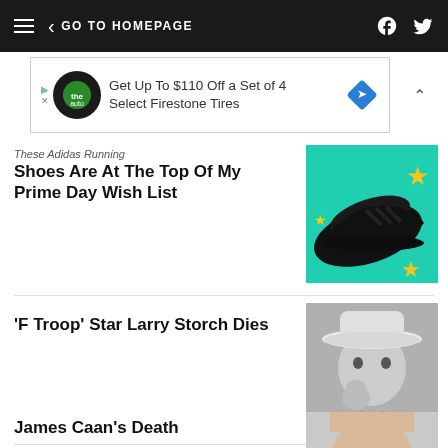GO TO HOMEPAGE
[Figure (other): Advertisement banner for Firestone tires: Get Up To $110 Off a Set of 4 Select Firestone Tires]
These Adidas Running Shoes Are At The Top Of My Prime Day Wish List
[Figure (photo): Photo of black Adidas running shoe on teal background with gold stars]
'F Troop' Star Larry Storch Dies
[Figure (photo): Black and white photo of a person wearing a cowboy hat]
James Caan's Death
[Figure (photo): Photo of an older bald man]